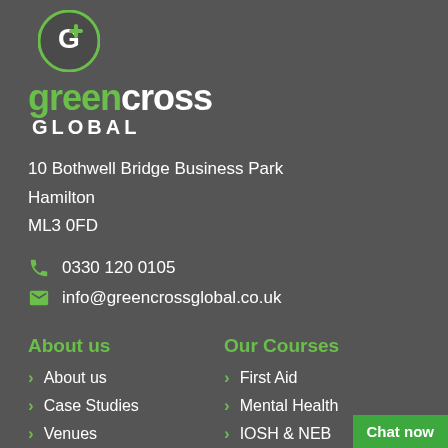[Figure (logo): Green Cross Global logo: circular green icon with a G and plus sign, followed by 'greencross' in white/green bold text and 'GLOBAL' in white bold caps]
10 Bothwell Bridge Business Park
Hamilton
ML3 0FD
0330 120 0105
info@greencrossglobal.co.uk
About us
About us
Case Studies
Venues
Our Courses
First Aid
Mental Health
IOSH & NEB...